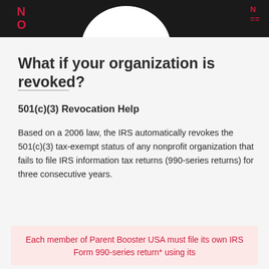N O  [logo]  N
What if your organization is revoked?
501(c)(3) Revocation Help
Based on a 2006 law, the IRS automatically revokes the 501(c)(3) tax-exempt status of any nonprofit organization that fails to file IRS information tax returns (990-series returns) for three consecutive years.
Each member of Parent Booster USA must file its own IRS Form 990-series return* using its